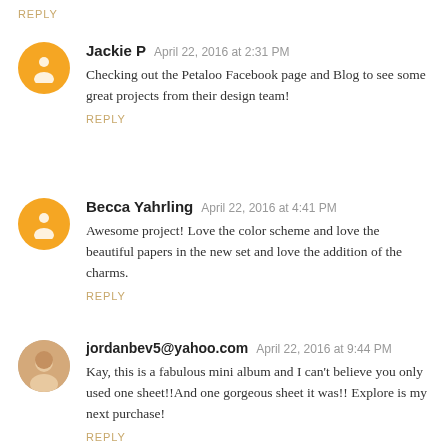REPLY
Jackie P  April 22, 2016 at 2:31 PM
Checking out the Petaloo Facebook page and Blog to see some great projects from their design team!
REPLY
Becca Yahrling  April 22, 2016 at 4:41 PM
Awesome project! Love the color scheme and love the beautiful papers in the new set and love the addition of the charms.
REPLY
jordanbev5@yahoo.com  April 22, 2016 at 9:44 PM
Kay, this is a fabulous mini album and I can't believe you only used one sheet!!And one gorgeous sheet it was!! Explore is my next purchase!
REPLY